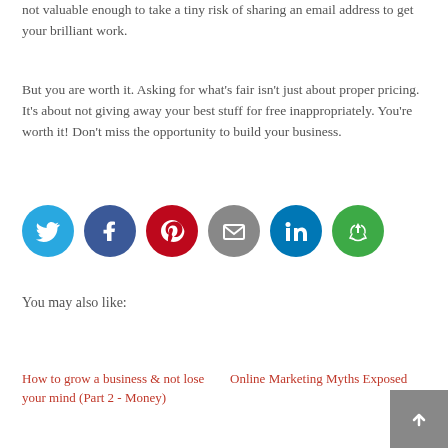not valuable enough to take a tiny risk of sharing an email address to get your brilliant work.
But you are worth it. Asking for what's fair isn't just about proper pricing. It's about not giving away your best stuff for free inappropriately. You're worth it! Don't miss the opportunity to build your business.
[Figure (other): Social sharing icons: Twitter (blue circle), Facebook (dark blue circle), Pinterest (red circle), Email (gray circle), LinkedIn (blue circle), Recycle/Share (green circle)]
You may also like:
How to grow a business & not lose your mind (Part 2 - Money)
Online Marketing Myths Exposed